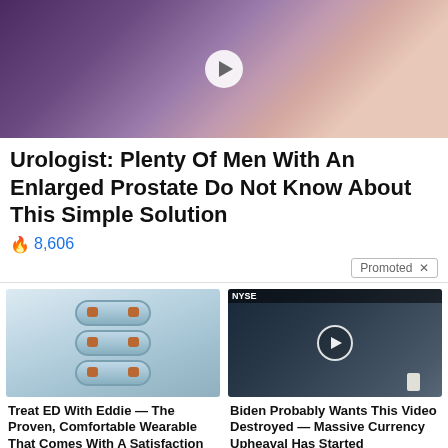[Figure (illustration): Medical illustration of prostate anatomy with play button overlay, purple/pink background]
Urologist: Plenty Of Men With An Enlarged Prostate Do Not Know About This Simple Solution
🔥 8,606
Promoted ✕
[Figure (photo): Blue wearable device rings stacked - Eddie ED treatment product photo]
Treat ED With Eddie — The Proven, Comfortable Wearable That Comes With A Satisfaction Guarantee
🔥 167,221
[Figure (screenshot): Video thumbnail of man in suit at NYSE trading floor, video player overlay]
Biden Probably Wants This Video Destroyed — Massive Currency Upheaval Has Started
🔥 151,240